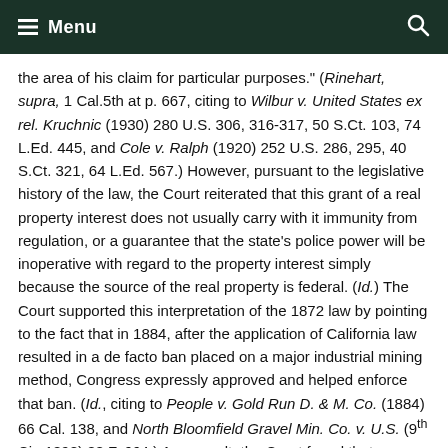Menu
the area of his claim for particular purposes." (Rinehart, supra, 1 Cal.5th at p. 667, citing to Wilbur v. United States ex rel. Kruchnic (1930) 280 U.S. 306, 316-317, 50 S.Ct. 103, 74 L.Ed. 445, and Cole v. Ralph (1920) 252 U.S. 286, 295, 40 S.Ct. 321, 64 L.Ed. 567.)  However, pursuant to the legislative history of the law, the Court reiterated that this grant of a real property interest does not usually carry with it immunity from regulation, or a guarantee that the state's police power will be inoperative with regard to the property interest simply because the source of the real property is federal.  (Id.)  The Court supported this interpretation of the 1872 law by pointing to the fact that in 1884, after the application of California law resulted in a de facto ban placed on a major industrial mining method, Congress expressly approved and helped enforce that ban. (Id., citing to People v. Gold Run D. & M. Co. (1884) 66 Cal. 138, and North Bloomfield Gravel Min. Co. v. U.S. (9th Cir. 1898) 88 F. 664.)  As a result, the Court found that Congress did not intend the 1872 Mining Law to preempt state laws regarding the use of particular mining methods.